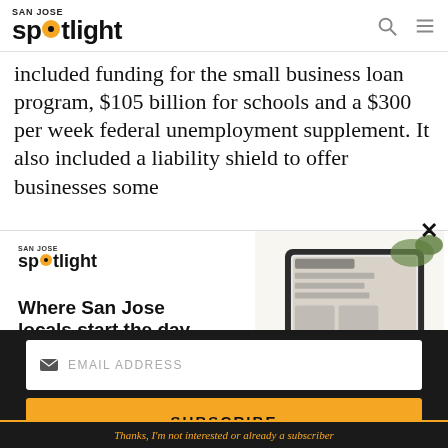SAN JOSE spotlight
included funding for the small business loan program, $105 billion for schools and a $300 per week federal unemployment supplement. It also included a liability shield to offer businesses some
[Figure (infographic): San Jose Spotlight advertisement banner showing logo, tagline 'Where San Jose locals start the day.' with sanjosespotlight.com URL, and a tablet/coffee image on the right]
EMAIL ADDRESS
SUBSCRIBE
Thanks, I'm not interested or already a subscriber